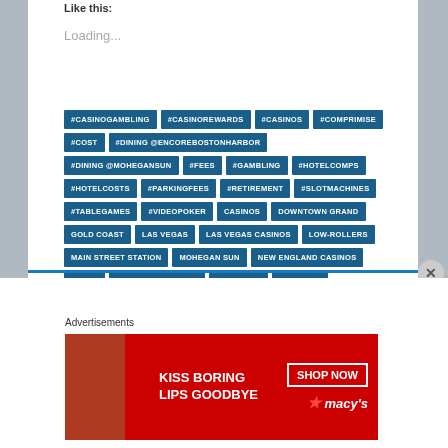Like this:
Loading...
#CASINOGAMBLING #CASINOREWARDS #CASINOS #COMPRIMISE #COST #DINING@ENCOREBOSTONHARBOR #DINING@MOHEGANSUN #FEES #GAMBLING #HOTELCOMPS #HOTELCOSTS #PARKINGFEES #RETIREMENT #SLOTMACHINES #TABLEGAMES #VIDEOPOKER CASINOS DOWNTOWN GRAND GOLD COAST LAS VEGAS LAS VEGAS CASINOS LOW-ROLLERS MAIN STREET STATION MOHEGAN SUN NEW ENGLAND CASINOS PALMS SAHARA LAS VEGAS THE PLAZA THE STRIP
Advertisements
[Figure (photo): Advertisement banner for Macy's with red background showing 'KISS BORING LIPS GOODBYE' text and SHOP NOW button with Macy's star logo]